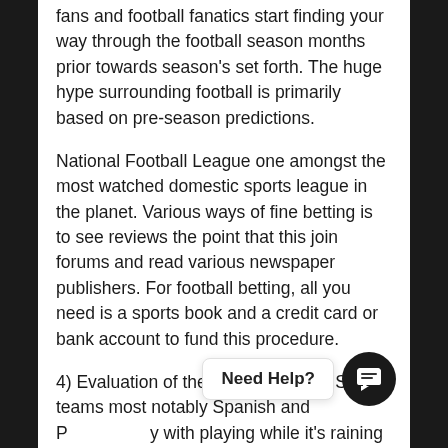fans and football fanatics start finding your way through the football season months prior towards season's set forth. The huge hype surrounding football is primarily based on pre-season predictions.
National Football League one amongst the most watched domestic sports league in the planet. Various ways of fine betting is to see reviews the point that this join forums and read various newspaper publishers. For football betting, all you need is a sports book and a credit card or bank account to fund this procedure.
4) Evaluation of the weather guess. Some teams most notably Spanish and [obscured] with playing while it's raining or on the wet appear. When it comes ufabet369 to betting on